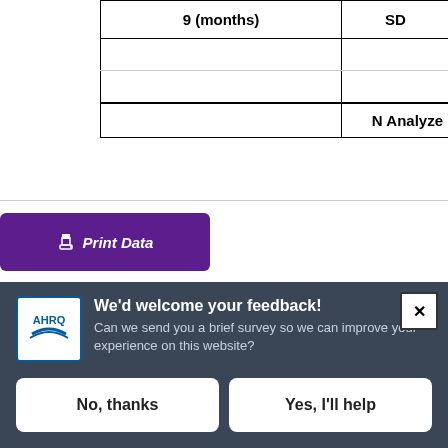| 9 (months) | SD |
| --- | --- |
|  |  |
|  |  |
|  | N Analyze |
Print Data
We'd welcome your feedback! Can we send you a brief survey so we can improve your experience on this website?
No, thanks
Yes, I'll help
Powered by Verint Experience Cloud